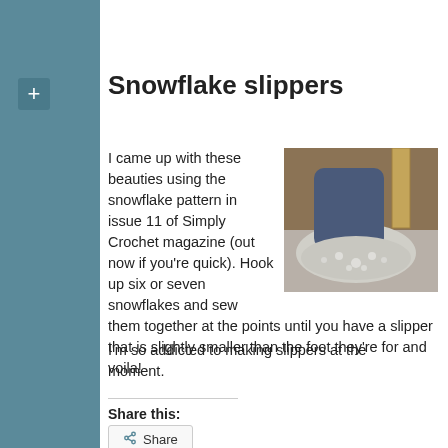Snowflake slippers
I came up with these beauties using the snowflake pattern in issue 11 of Simply Crochet magazine (out now if you're quick). Hook up six or seven snowflakes and sew them together at the points until you have a slipper that is slightly smaller than the foot they're for and voila!
[Figure (photo): Close-up photo of a foot wearing a grey/white crocheted snowflake slipper, resting on a wooden floor near a table leg.]
I'm so addicted to making slippers at the moment.
Share this:
Share
Loading...